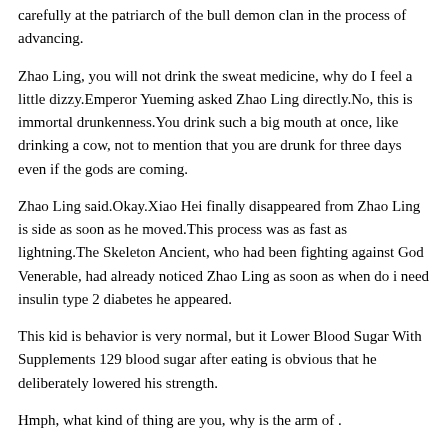carefully at the patriarch of the bull demon clan in the process of advancing.
Zhao Ling, you will not drink the sweat medicine, why do I feel a little dizzy.Emperor Yueming asked Zhao Ling directly.No, this is immortal drunkenness.You drink such a big mouth at once, like drinking a cow, not to mention that you are drunk for three days even if the gods are coming.
Zhao Ling said.Okay.Xiao Hei finally disappeared from Zhao Ling is side as soon as he moved.This process was as fast as lightning.The Skeleton Ancient, who had been fighting against God Venerable, had already noticed Zhao Ling as soon as when do i need insulin type 2 diabetes he appeared.
This kid is behavior is very normal, but it Lower Blood Sugar With Supplements 129 blood sugar after eating is obvious that he deliberately lowered his strength.
Hmph, what kind of thing are you, why is the arm of .
8.Which diabetes meds do not cause weight gain?